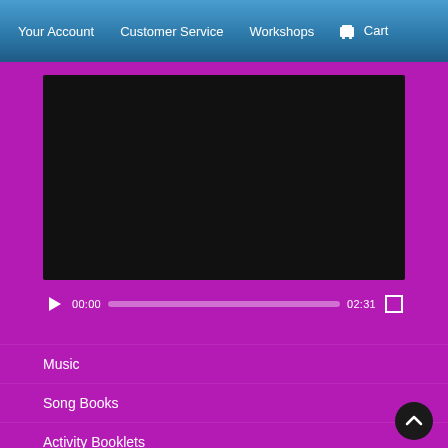Your Account   Customer Service   Workshops   Cart
[Figure (screenshot): Black video player screen (dark/blank video area)]
00:00   02:31
Music
Song Books
Activity Booklets
Christian Quotes & Activities
Blog